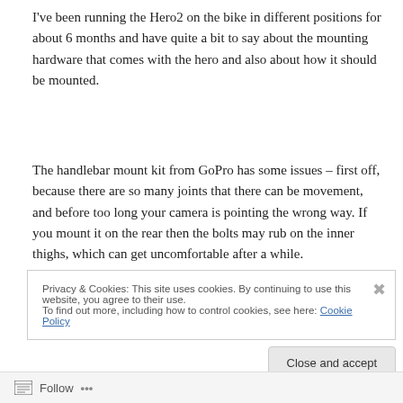I've been running the Hero2 on the bike in different positions for about 6 months and have quite a bit to say about the mounting hardware that comes with the hero and also about how it should be mounted.
The handlebar mount kit from GoPro has some issues – first off, because there are so many joints that there can be movement, and before too long your camera is pointing the wrong way. If you mount it on the rear then the bolts may rub on the inner thighs, which can get uncomfortable after a while.
Privacy & Cookies: This site uses cookies. By continuing to use this website, you agree to their use.
To find out more, including how to control cookies, see here: Cookie Policy
Close and accept
Follow